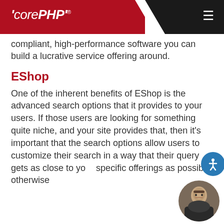corePHP®
compliant, high-performance software you can build a lucrative service offering around.
EShop
One of the inherent benefits of EShop is the advanced search options that it provides to your users. If those users are looking for something quite niche, and your site provides that, then it's important that the search options allow users to customize their search in a way that their query gets as close to your specific offerings as possible, otherwise